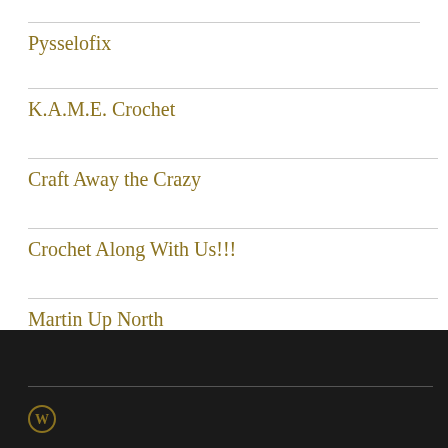Pysselofix
K.A.M.E. Crochet
Craft Away the Crazy
Crochet Along With Us!!!
Martin Up North
WordPress logo footer